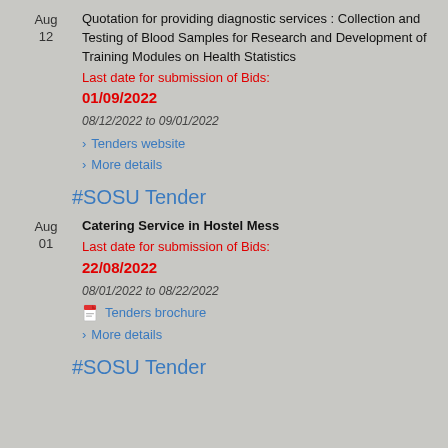Aug 12
Quotation for providing diagnostic services : Collection and Testing of Blood Samples for Research and Development of Training Modules on Health Statistics
Last date for submission of Bids: 01/09/2022
08/12/2022 to 09/01/2022
Tenders website
More details
#SOSU Tender
Aug 01
Catering Service in Hostel Mess
Last date for submission of Bids: 22/08/2022
08/01/2022 to 08/22/2022
Tenders brochure
More details
#SOSU Tender